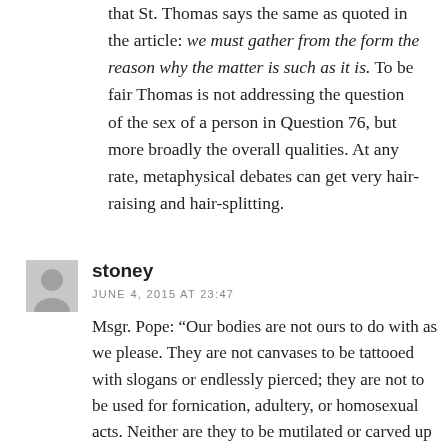that St. Thomas says the same as quoted in the article: we must gather from the form the reason why the matter is such as it is. To be fair Thomas is not addressing the question of the sex of a person in Question 76, but more broadly the overall qualities. At any rate, metaphysical debates can get very hair-raising and hair-splitting.
stoney
JUNE 4, 2015 AT 23:47
Msgr. Pope: “Our bodies are not ours to do with as we please. They are not canvases to be tattooed with slogans or endlessly pierced; they are not to be used for fornication, adultery, or homosexual acts. Neither are they to be mutilated or carved up into apparently now